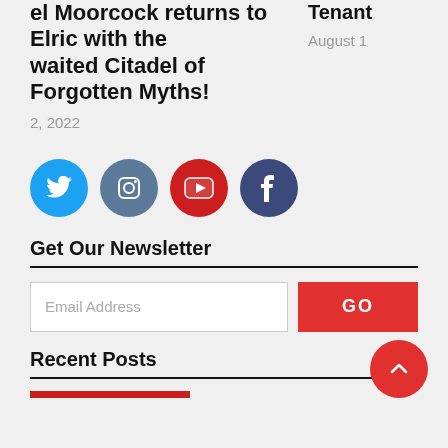el Moorcock returns to Elric with the waited Citadel of Forgotten Myths!
2, 2022
Tenant
August 1
[Figure (infographic): Social media icons: Twitter (blue circle), Instagram (slate blue circle), YouTube (red circle), Facebook (dark navy circle)]
Get Our Newsletter
Email Address
GO
Recent Posts